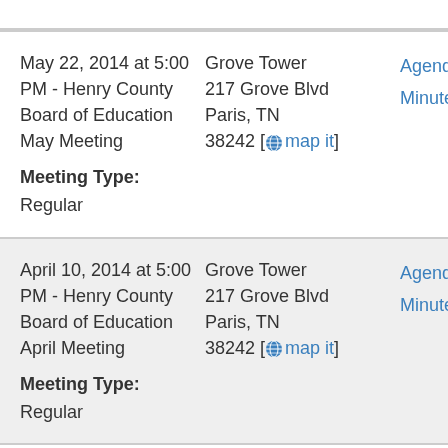May 22, 2014 at 5:00 PM - Henry County Board of Education May Meeting
Meeting Type: Regular
Grove Tower
217 Grove Blvd
Paris, TN
38242 [map it]
Agenda
Minutes
April 10, 2014 at 5:00 PM - Henry County Board of Education April Meeting
Meeting Type: Regular
Grove Tower
217 Grove Blvd
Paris, TN
38242 [map it]
Agenda
Minutes
March 13, 2014
Grove Tower
Agenda